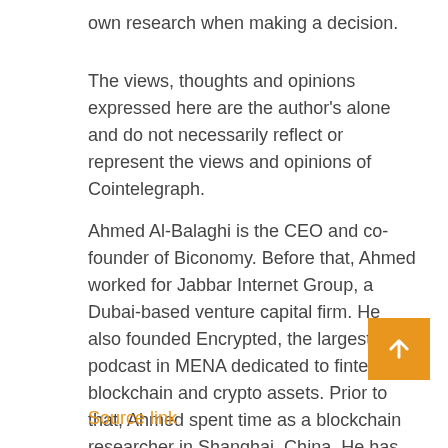own research when making a decision.
The views, thoughts and opinions expressed here are the author's alone and do not necessarily reflect or represent the views and opinions of Cointelegraph.
Ahmed Al-Balaghi is the CEO and co-founder of Biconomy. Before that, Ahmed worked for Jabbar Internet Group, a Dubai-based venture capital firm. He also founded Encrypted, the largest podcast in MENA dedicated to fintech, blockchain and crypto assets. Prior to that, Ahmed spent time as a blockchain researcher in Shanghai, China. He has also worked for institutions such as Citibank, Dow Jones and Ofgem.
Source link